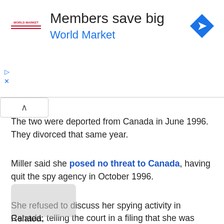[Figure (infographic): Advertisement banner for World Market with logo, headline 'Members save big', subheading 'World Market', and a blue diamond navigation icon on the right.]
The two were deported from Canada in June 1996. They divorced that same year.
Miller said she posed no threat to Canada, having quit the spy agency in October 1996.
She refused to discuss her spying activity in Canada, telling the court in a filing that she was required to sign an undertaking not to divulge information about her activities.
Miller married Canadian doctor Peter Miller in December 1996.
He sponsored her application for permanent residence in Canada in 1998.
Related: